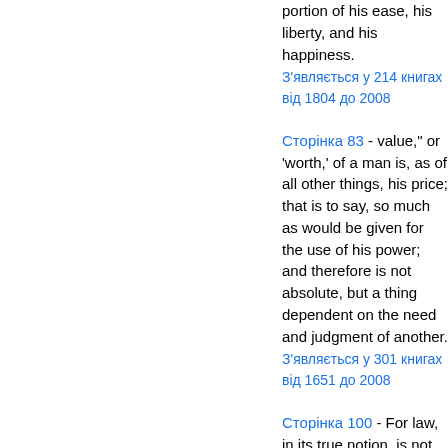portion of his ease, his liberty, and his happiness.
З'являється у 214 книгах від 1804 до 2008
Сторінка 83 - value," or 'worth,' of a man is, as of all other things, his price; that is to say, so much as would be given for the use of his power; and therefore is not absolute, but a thing dependent on the need and judgment of another.
З'являється у 301 книгах від 1651 до 2008
Сторінка 100 - For law, in its true notion, is not so much the limitation as the direction of a free